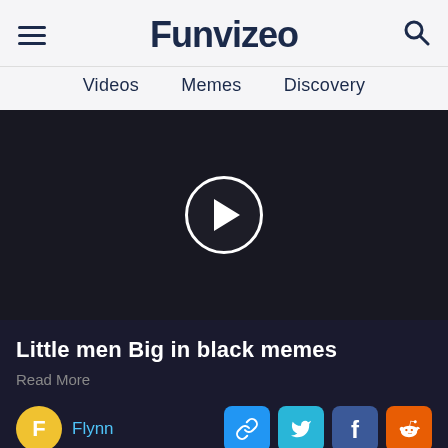Funvizeo
Videos   Memes   Discovery
[Figure (other): Dark video player area with a circular play button (white triangle on dark background)]
Little men Big in black memes
Read More
Flynn
Smith Memes   Will Memes   Clip Memes